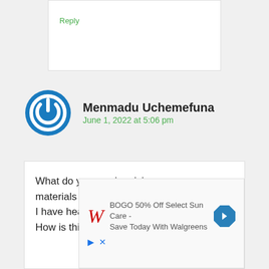Reply
Menmadu Uchemefuna
June 1, 2022 at 5:06 pm
What do you use in mixing your raw materials evenly.
I have heard of shovel and a drum.
How is this done with a drum.
[Figure (other): Walgreens advertisement: BOGO 50% Off Select Sun Care - Save Today With Walgreens, with Walgreens logo and blue navigation arrow icon]